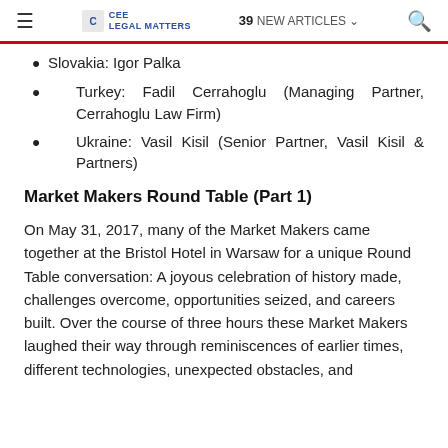≡  CEE LEGAL MATTERS  39 NEW ARTICLES  🔍
Slovakia: Igor Palka
Turkey: Fadil Cerrahoglu (Managing Partner, Cerrahoglu Law Firm)
Ukraine: Vasil Kisil (Senior Partner, Vasil Kisil & Partners)
Market Makers Round Table (Part 1)
On May 31, 2017, many of the Market Makers came together at the Bristol Hotel in Warsaw for a unique Round Table conversation: A joyous celebration of history made, challenges overcome, opportunities seized, and careers built. Over the course of three hours these Market Makers laughed their way through reminiscences of earlier times, different technologies, unexpected obstacles, and